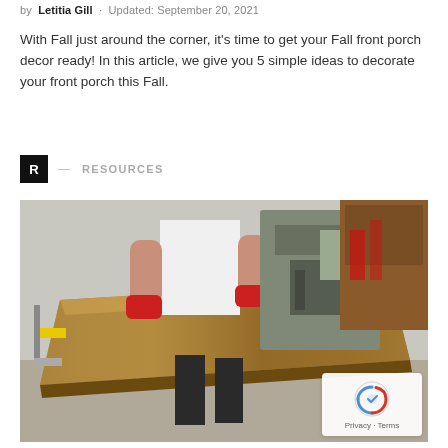by Letitia Gill · Updated: September 20, 2021
With Fall just around the corner, it's time to get your Fall front porch decor ready! In this article, we give you 5 simple ideas to decorate your front porch this Fall.
R — RESOURCES
[Figure (photo): A person in a white t-shirt and red gloves working with a large wooden slab on a woodworking machine in a workshop. A yellow clamp is visible on the left side. A reCAPTCHA privacy overlay appears in the bottom right corner.]